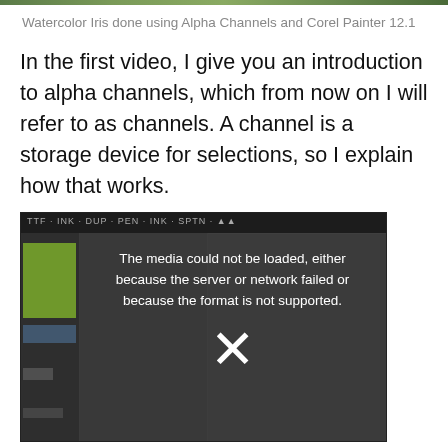[Figure (screenshot): Top strip showing a watercolor iris painting image, cropped at the top of the page]
Watercolor Iris done using Alpha Channels and Corel Painter 12.1
In the first video, I give you an introduction to alpha channels, which from now on I will refer to as channels.  A channel is a storage device for selections, so I explain how that works.
[Figure (screenshot): Video player screenshot showing a media error overlay: 'The media could not be loaded, either because the server or network failed or because the format is not supported.' with an X symbol. Background shows a software interface with dark panels and a green element on the left side.]